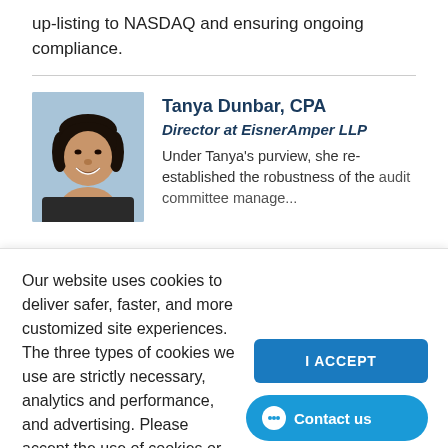up-listing to NASDAQ and ensuring ongoing compliance.
[Figure (photo): Professional headshot photo of Tanya Dunbar, CPA, a woman with dark hair, smiling, wearing dark clothing against a light blue background.]
Tanya Dunbar, CPA
Director at EisnerAmper LLP
Under Tanya's purview, she re-established the robustness of the audit committee management...
Our website uses cookies to deliver safer, faster, and more customized site experiences. The three types of cookies we use are strictly necessary, analytics and performance, and advertising. Please accept the use of cookies or review our cookie policy.